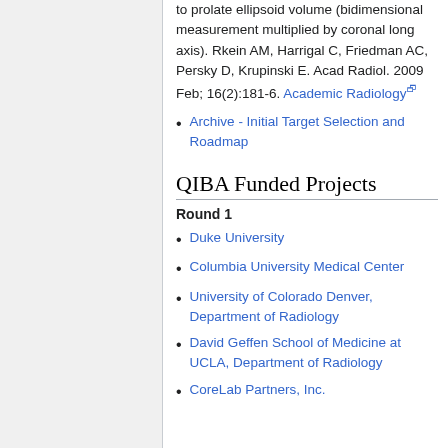to prolate ellipsoid volume (bidimensional measurement multiplied by coronal long axis). Rkein AM, Harrigal C, Friedman AC, Persky D, Krupinski E. Acad Radiol. 2009 Feb; 16(2):181-6. Academic Radiology
Archive - Initial Target Selection and Roadmap
QIBA Funded Projects
Round 1
Duke University
Columbia University Medical Center
University of Colorado Denver, Department of Radiology
David Geffen School of Medicine at UCLA, Department of Radiology
CoreLab Partners, Inc.